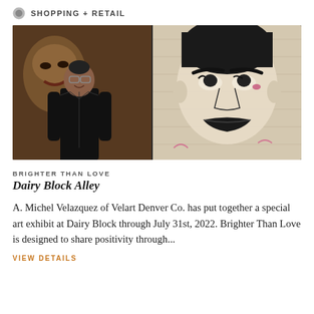SHOPPING + RETAIL
[Figure (photo): Two-panel photo: left shows a man in a black leather jacket standing in front of a colorful mural of a woman's face; right shows a large painted portrait of a woman's face on a wooden panel with black and white street art style.]
BRIGHTER THAN LOVE
Dairy Block Alley
A. Michel Velazquez of Velart Denver Co. has put together a special art exhibit at Dairy Block through July 31st, 2022. Brighter Than Love is designed to share positivity through...
VIEW DETAILS